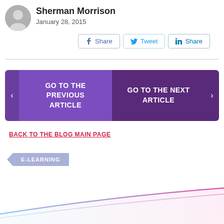Sherman Morrison
January 28, 2015
Share  Tweet  Share
GO TO THE PREVIOUS ARTICLE  |  GO TO THE NEXT ARTICLE
BACK TO THE BLOG MAIN PAGE
E-LEARNING
[Figure (illustration): Decorative gradient swoosh lines at the bottom of the page, transitioning from blue on the left to pink/magenta on the right]